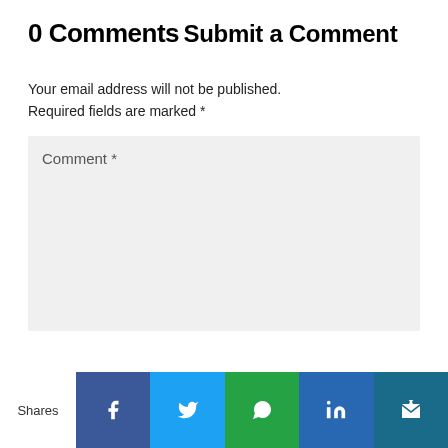0 Comments
Submit a Comment
Your email address will not be published. Required fields are marked *
[Figure (screenshot): Comment text area input field with label 'Comment *' on a light grey background]
Shares | Facebook | Twitter | WhatsApp | LinkedIn | Mail